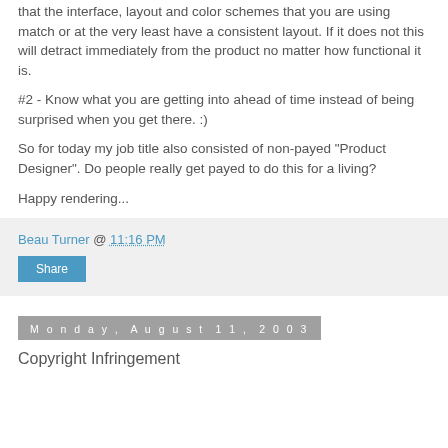that the interface, layout and color schemes that you are using match or at the very least have a consistent layout. If it does not this will detract immediately from the product no matter how functional it is.
#2 - Know what you are getting into ahead of time instead of being surprised when you get there. :)
So for today my job title also consisted of non-payed "Product Designer". Do people really get payed to do this for a living?
Happy rendering...
Beau Turner @ 11:16 PM
Share
Monday, August 11, 2003
Copyright Infringement